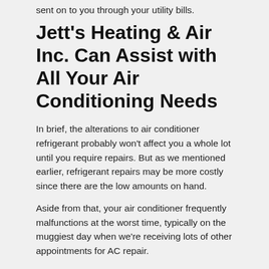sent on to you through your utility bills.
Jett's Heating & Air Inc. Can Assist with All Your Air Conditioning Needs
In brief, the alterations to air conditioner refrigerant probably won't affect you a whole lot until you require repairs. But as we mentioned earlier, refrigerant repairs may be more costly since there are the low amounts on hand.
Aside from that, your air conditioner frequently malfunctions at the worst time, typically on the muggiest day when we're receiving lots of other appointments for AC repair.
If your air conditioner requires...